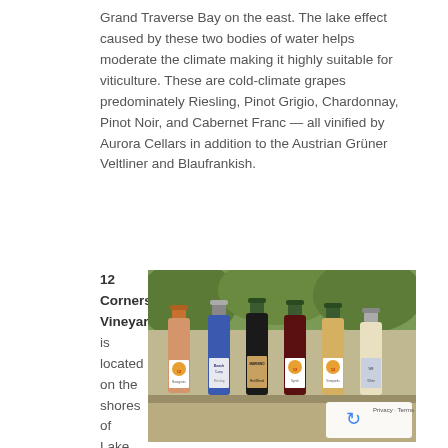Grand Traverse Bay on the east. The lake effect caused by these two bodies of water helps moderate the climate making it highly suitable for viticulture. These are cold-climate grapes predominately Riesling, Pinot Grigio, Chardonnay, Pinot Noir, and Cabernet Franc — all vinified by Aurora Cellars in addition to the Austrian Grüner Veltliner and Blaufrankish.
12 Corners Vineyards is located on the shores of Lake Michigan within the Lake Michigan
[Figure (photo): Six wine bottles from 12 Corners Vineyards arranged on an outdoor table with green trees in the background. Bottles include a variety of wines with distinctive labels featuring a sun/grid logo. A Google reCAPTCHA privacy badge appears in the bottom right corner.]